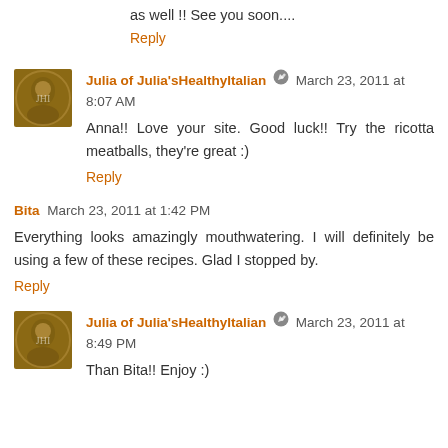as well !! See you soon....
Reply
Julia of Julia'sHealthyItalian  March 23, 2011 at 8:07 AM
Anna!! Love your site. Good luck!! Try the ricotta meatballs, they're great :)
Reply
Bita  March 23, 2011 at 1:42 PM
Everything looks amazingly mouthwatering. I will definitely be using a few of these recipes. Glad I stopped by.
Reply
Julia of Julia'sHealthyItalian  March 23, 2011 at 8:49 PM
Than Bita!! Enjoy :)